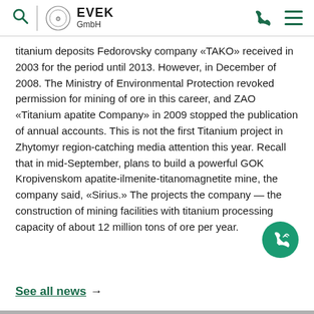EVEK GmbH
titanium deposits Fedorovsky company «TAKO» received in 2003 for the period until 2013. However, in December of 2008. The Ministry of Environmental Protection revoked permission for mining of ore in this career, and ZAO «Titanium apatite Company» in 2009 stopped the publication of annual accounts. This is not the first Titanium project in Zhytomyr region-catching media attention this year. Recall that in mid-September, plans to build a powerful GOK Kropivenskom apatite-ilmenite-titanomagnetite mine, the company said, «Sirius.» The projects the company — the construction of mining facilities with titanium processing capacity of about 12 million tons of ore per year.
[Figure (other): Green circular call/phone button icon]
See all news →